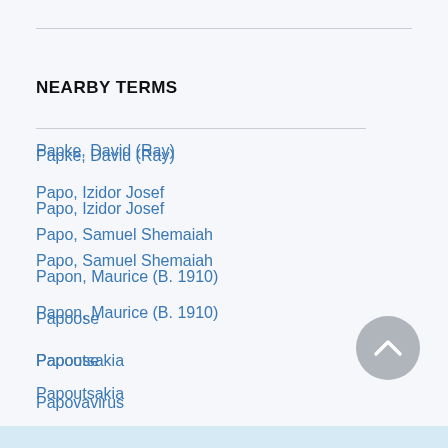NEARBY TERMS
Papke, David (Ray)
Papo, Izidor Josef
Papo, Samuel Shemaiah
Papon, Maurice (B. 1910)
Papoose
Papoutsakia
Papovavirus
Papp, Joseph